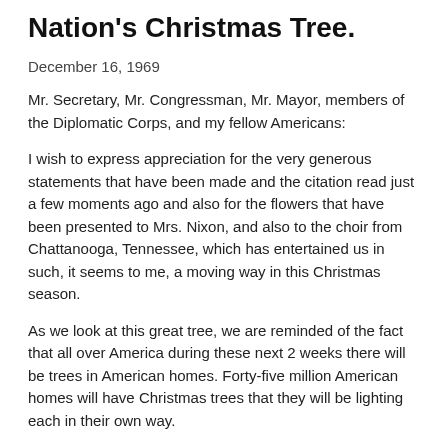Nation's Christmas Tree.
December 16, 1969
Mr. Secretary, Mr. Congressman, Mr. Mayor, members of the Diplomatic Corps, and my fellow Americans:
I wish to express appreciation for the very generous statements that have been made and the citation read just a few moments ago and also for the flowers that have been presented to Mrs. Nixon, and also to the choir from Chattanooga, Tennessee, which has entertained us in such, it seems to me, a moving way in this Christmas season.
As we look at this great tree, we are reminded of the fact that all over America during these next 2 weeks there will be trees in American homes. Forty-five million American homes will have Christmas trees that they will be lighting each in their own way.
This tree has a special meaning. It belongs to all the Nation.